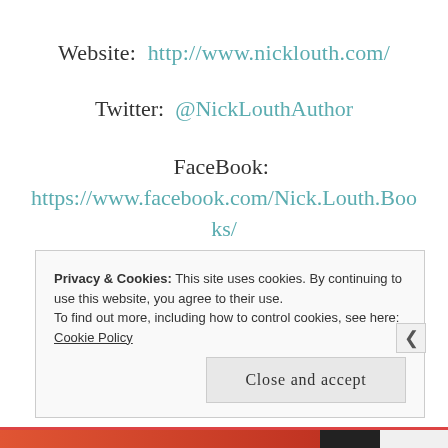Website:  http://www.nicklouth.com/
Twitter:  @NickLouthAuthor
FaceBook:  https://www.facebook.com/Nick.Louth.Books/
Privacy & Cookies: This site uses cookies. By continuing to use this website, you agree to their use.
To find out more, including how to control cookies, see here: Cookie Policy
Close and accept